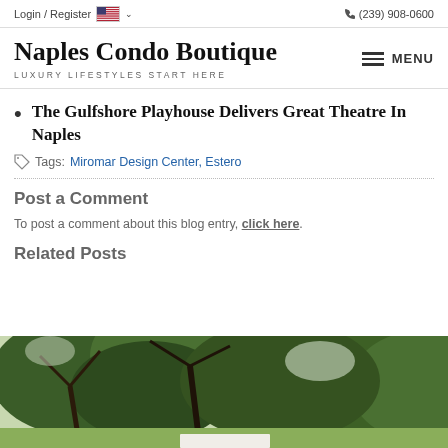Login / Register  🇺🇸 ∨    (239) 908-0600
Naples Condo Boutique
LUXURY LIFESTYLES START HERE
The Gulfshore Playhouse Delivers Great Theatre In Naples
Tags: Miromar Design Center, Estero
Post a Comment
To post a comment about this blog entry, click here.
Related Posts
[Figure (photo): Outdoor scene with trees and foliage, related post thumbnail image]